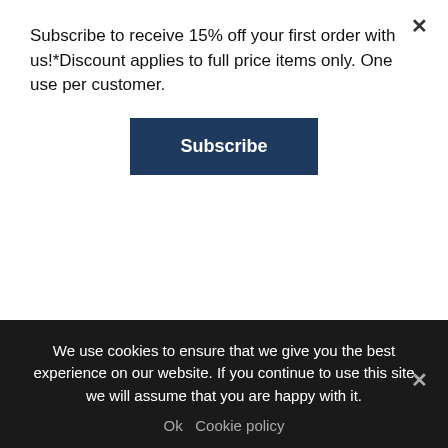Subscribe to receive 15% off your first order with us!*Discount applies to full price items only. One use per customer.
Subscribe
information, necessarily, is not current and is provided for your reference only. We reserve the right to modify the contents of this site at any time, but we have no obligation to update any information on our site. You agree that it is your responsibility to monitor changes to our site.
SECTION 4 – MODIFICATIONS TO THE SERVICE AND PRICES
Prices for our products are subject to change without notice.
We use cookies to ensure that we give you the best experience on our website. If you continue to use this site we will assume that you are happy with it.
Ok  Cookie policy